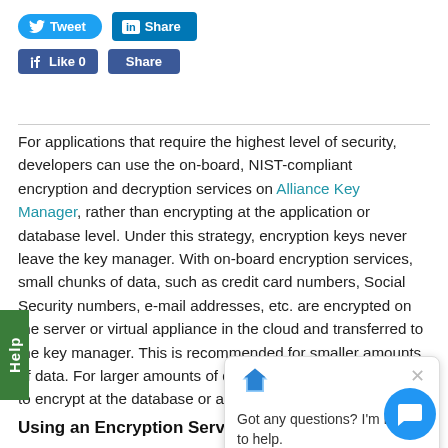[Figure (other): Social media buttons: Tweet (Twitter), Share (LinkedIn), Like 0 (Facebook), Share (Facebook)]
For applications that require the highest level of security, developers can use the on-board, NIST-compliant encryption and decryption services on Alliance Key Manager, rather than encrypting at the application or database level. Under this strategy, encryption keys never leave the key manager. With on-board encryption services, small chunks of data, such as credit card numbers, Social Security numbers, e-mail addresses, etc. are encrypted on the server or virtual appliance in the cloud and transferred to the key manager. This is recommended for smaller amounts of data. For larger amounts of data, it is still recommended to encrypt at the database or application level.
[Figure (other): Chat popup overlay with bot icon and text: Got any questions? I'm happy to help.]
Using an Encryption Service